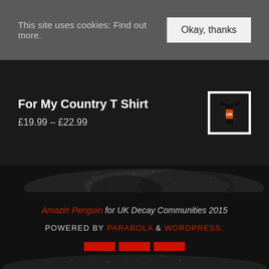This site uses cookies: Find out more.
Okay, thanks
For My Country T Shirt
£19.99 – £22.99
[Figure (photo): Small thumbnail of a black t-shirt with orange/red graphic design]
[Figure (photo): Decorative dark textured band with skull-like graphic in grey tones]
Amazin Penguin for UK Decay Communities 2015
POWERED BY PARABOLA & WORDPRESS.
[Figure (other): Social media icons row: Facebook, Twitter, RSS feed — white icons on red square backgrounds]
[Figure (photo): Decorative dark textured band at the bottom of the page]